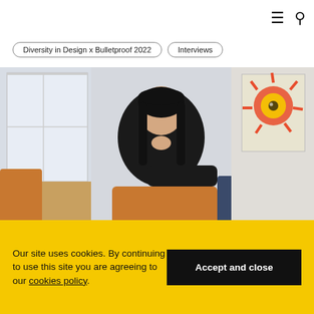≡ 🔍
Diversity in Design x Bulletproof 2022   Interviews
[Figure (photo): A woman with long black hair wearing a black top, sitting in an orange velvet chair in a bright office space with windows and a colorful poster in the background, posing with her chin resting on her hand.]
Meet Ami Werner: Head of Strategy, Bulletproof New York
Our site uses cookies. By continuing to use this site you are agreeing to our cookies policy.